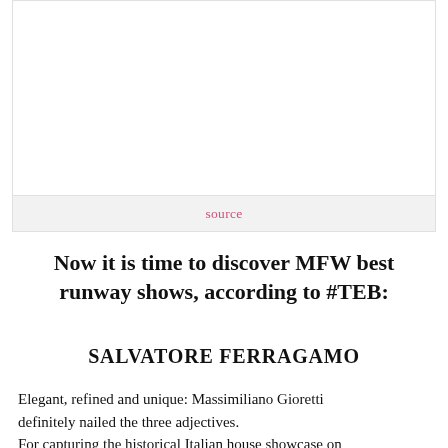[Figure (photo): A blank white image area (photo placeholder) with a light gray border]
source
Now it is time to discover MFW best runway shows, according to #TEB:
SALVATORE FERRAGAMO
Elegant, refined and unique: Massimiliano Giornetti definitely nailed the three adjectives.
For capturing the historical Italian house showcase on...